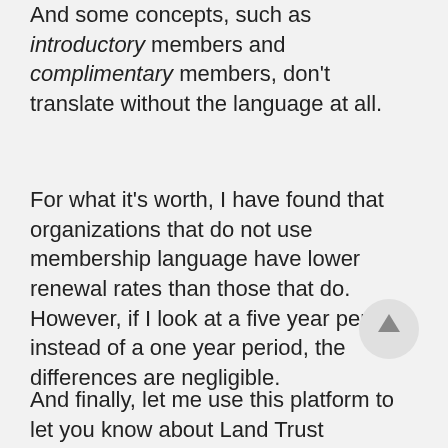And some concepts, such as introductory members and complimentary members, don't translate without the language at all.
For what it's worth, I have found that organizations that do not use membership language have lower renewal rates than those that do. However, if I look at a five year period instead of a one year period, the differences are negligible.
[Figure (other): A circular button with an upward-pointing arrow, used for scrolling to top.]
And finally, let me use this platform to let you know about Land Trust Alliance's new RFP Depot. The Depot